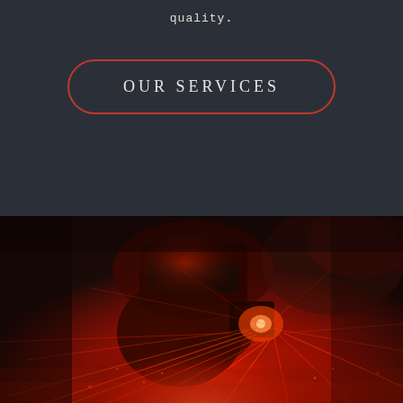quality.
OUR SERVICES
[Figure (photo): Red-tinted industrial welding photo showing a welder with sparks flying, dramatic red light illuminating the scene from below]